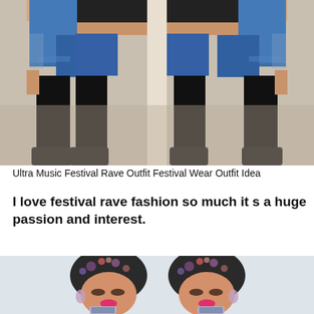[Figure (photo): Mirrored photo of a woman wearing denim cutoff shorts, black crop top, black thigh-high socks and black sneakers, posed in front of a mirror.]
Ultra Music Festival Rave Outfit Festival Wear Outfit Idea
I love festival rave fashion so much it s a huge passion and interest.
[Figure (photo): Mirrored selfie photo of a woman wearing a floral head wrap and bright pink lipstick, taking a photo with a floral-cased phone.]